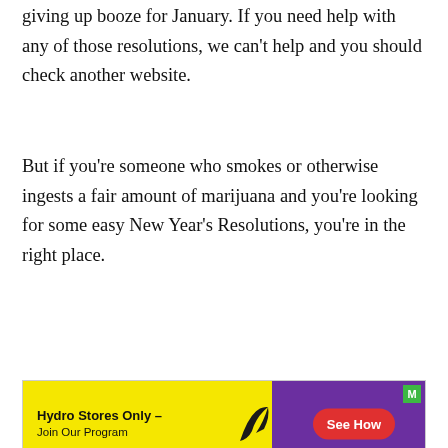giving up booze for January. If you need help with any of those resolutions, we can't help and you should check another website.
But if you're someone who smokes or otherwise ingests a fair amount of marijuana and you're looking for some easy New Year's Resolutions, you're in the right place.
[Figure (other): Advertisement banner for Hydro Stores Only – Join Our Program with a yellow and purple background and a red 'See How' button]
Pick A Regular Smoking Schedule
[Figure (photo): Black and white photo showing partial text 'CAL' visible, appears to be a person near signage]